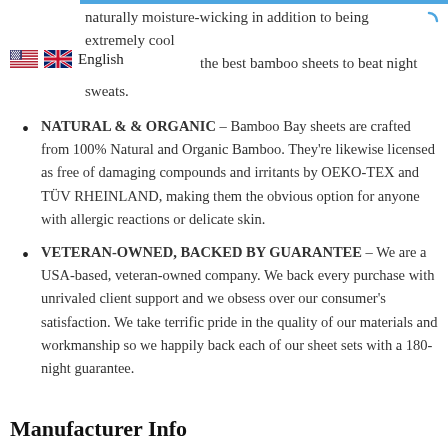naturally moisture-wicking in addition to being extremely cool the best bamboo sheets to beat night sweats.
English
NATURAL & & ORGANIC – Bamboo Bay sheets are crafted from 100% Natural and Organic Bamboo. They're likewise licensed as free of damaging compounds and irritants by OEKO-TEX and TÜV RHEINLAND, making them the obvious option for anyone with allergic reactions or delicate skin.
VETERAN-OWNED, BACKED BY GUARANTEE – We are a USA-based, veteran-owned company. We back every purchase with unrivaled client support and we obsess over our consumer's satisfaction. We take terrific pride in the quality of our materials and workmanship so we happily back each of our sheet sets with a 180-night guarantee.
Manufacturer Info